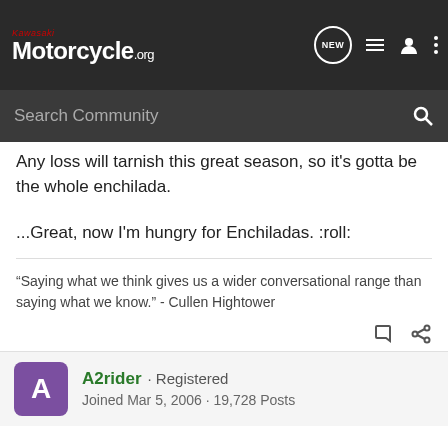Kawasaki Motorcycle.org
Any loss will tarnish this great season, so it's gotta be the whole enchilada.
...Great, now I'm hungry for Enchiladas. :roll:
“Saying what we think gives us a wider conversational range than saying what we know.” - Cullen Hightower
A2rider · Registered
Joined Mar 5, 2006 · 19,728 Posts